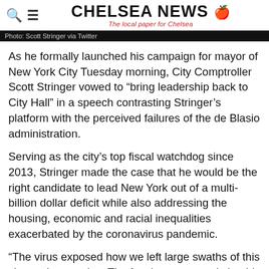CHELSEA NEWS — The local paper for Chelsea
Photo: Scott Stringer via Twitter
As he formally launched his campaign for mayor of New York City Tuesday morning, City Comptroller Scott Stringer vowed to “bring leadership back to City Hall” in a speech contrasting Stringer’s platform with the perceived failures of the de Blasio administration.
Serving as the city’s top fiscal watchdog since 2013, Stringer made the case that he would be the right candidate to lead New York out of a multi-billion dollar deficit while also addressing the housing, economic and racial inequalities exacerbated by the coronavirus pandemic.
“The virus exposed how we left large swaths of this city on the margins. The fact is we can and should be...